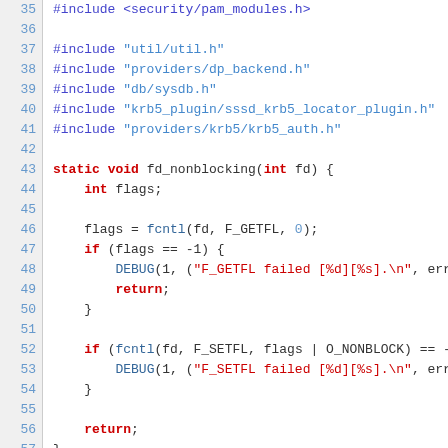Source code listing, lines 35-57, C language, showing #include directives and fd_nonblocking function definition